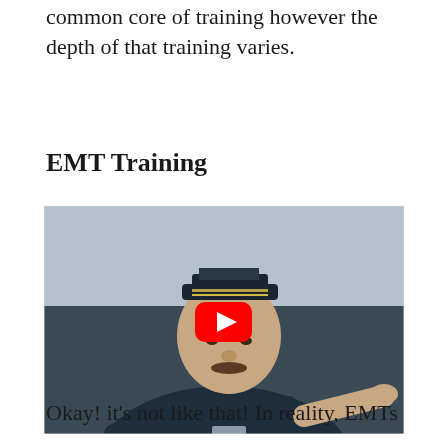common core of training however the depth of that training varies.
EMT Training
[Figure (screenshot): YouTube video thumbnail showing a man in a dark navy uniform and captain's hat with a mustache, pointing with his right hand. A red YouTube play button is overlaid in the center of the image. The background is an outdoor blurred scene.]
Okay! it's not like that! In reality, EMTs